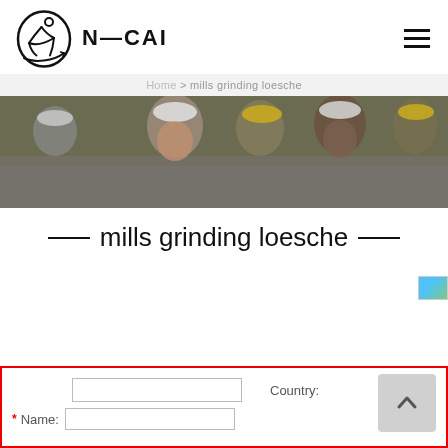[Figure (logo): N-CAI company logo with stylized figure inside an oval shape, followed by bold text N-CAI]
Home > mills grinding loesche
[Figure (photo): Group of construction workers wearing hard hats smiling, with machinery in the background]
mills grinding loesche
Country:
* Name: